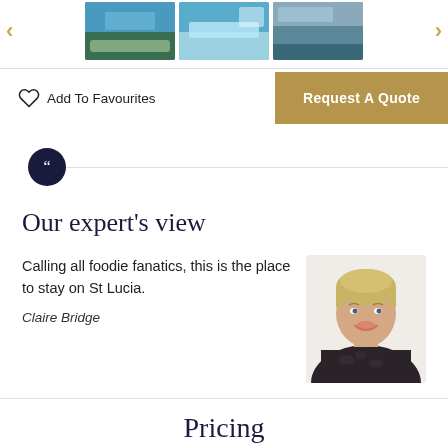[Figure (photo): Image carousel strip with three travel destination thumbnail photos and navigation arrows on left and right]
Add To Favourites
Request A Quote
Our expert's view
Calling all foodie fanatics, this is the place to stay on St Lucia.
Claire Bridge
[Figure (photo): Portrait photo of Claire Bridge, a blonde woman smiling, wearing a dark floral top]
Pricing